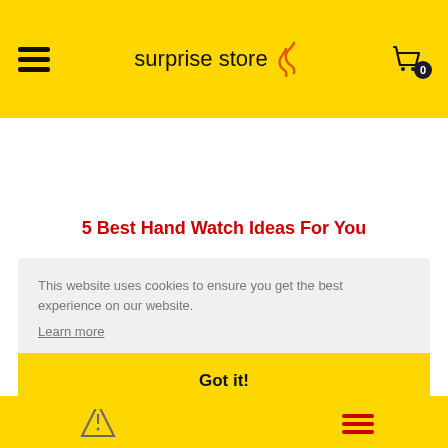surprise store
5 Best Hand Watch Ideas For You
This website uses cookies to ensure you get the best experience on our website.
Learn more
Got it!